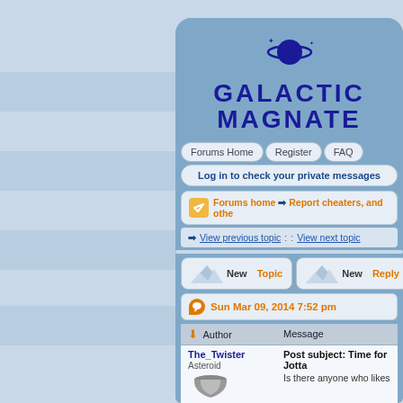[Figure (screenshot): Galactic Magnate forum website screenshot showing logo, navigation, breadcrumb, new topic/reply buttons, and a post by The_Twister dated Sun Mar 09, 2014 7:52 pm with subject 'Post subject: Time for Jotta' and preview text 'Is there anyone who likes']
GALACTIC MAGNATE
Forums Home | Register | FAQ
Log in to check your private messages
Forums home ➡ Report cheaters, and othe
View previous topic :: View next topic
New Topic | New Reply
Sun Mar 09, 2014 7:52 pm
| Author | Message |
| --- | --- |
| The_Twister
Asteroid | Post subject: Time for Jotta
Is there anyone who likes |